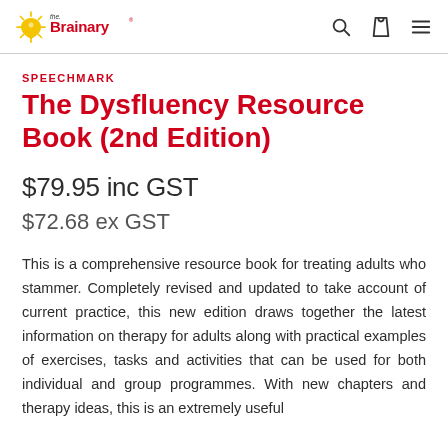the Brainary
SPEECHMARK
The Dysfluency Resource Book (2nd Edition)
$79.95 inc GST
$72.68 ex GST
This is a comprehensive resource book for treating adults who stammer. Completely revised and updated to take account of current practice, this new edition draws together the latest information on therapy for adults along with practical examples of exercises, tasks and activities that can be used for both individual and group programmes. With new chapters and therapy ideas, this is an extremely useful